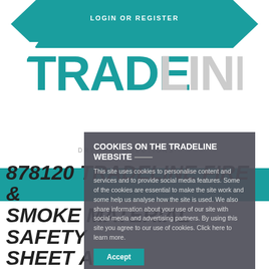LOGIN OR REGISTER
[Figure (logo): TRADELINE logo in teal bold font with DRYWALL SOLUTIONS subtitle]
COOKIES ON THE TRADELINE WEBSITE
This site uses cookies to personalise content and services and to provide social media features. Some of the cookies are essential to make the site work and some help us analyse how the site is used. We also share information about your use of our site with social media and advertising partners. By using this site you agree to our use of cookies. Click here to learn more.
Accept
878120 TRADELINE FIRE & SMOKE MATERIAL SAFETY SHEET A4 V1